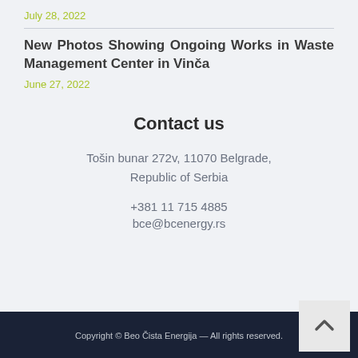July 28, 2022
New Photos Showing Ongoing Works in Waste Management Center in Vinča
June 27, 2022
Contact us
Tošin bunar 272v, 11070 Belgrade, Republic of Serbia
+381 11 715 4885
bce@bcenergy.rs
Copyright © Beo Čista Energija — All rights reserved.